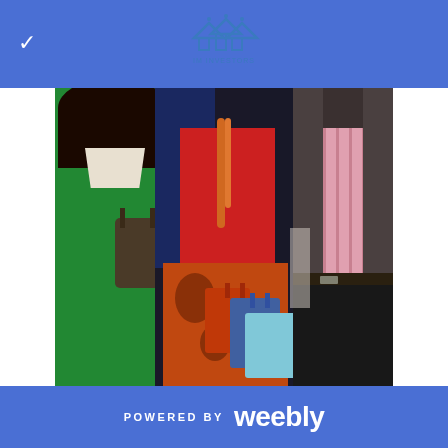[Figure (logo): IM Investors logo with house icon and text]
[Figure (photo): Three people shopping: woman in green dress on left, woman in red top with orange necklace and shopping bags in center, man in pink shirt and gray jacket on right]
[Figure (photo): Partial view of a dark car or surface at bottom]
POWERED BY weebly